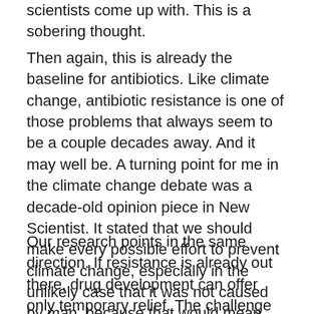scientists come up with. This is a sobering thought.
Then again, this is already the baseline for antibiotics. Like climate change, antibiotic resistance is one of those problems that always seem to be a couple decades away. And it may well be. A turning point for me in the climate change debate was a decade-old opinion piece in New Scientist. It stated that we should make every possible effort to prevent climate change, especially in the unlikely case that it was not caused by man, because that would mean that all we can do is palliate a natural phenomenon.
Our research points in the same direction. If resistance is already out there, drug development can offer only temporary relief. The challenge then is not to quell resistance, but to avoid its spread. It is a big challenge, but not an insurmountable one. Not feeding wonder drugs to animals would be a good start.